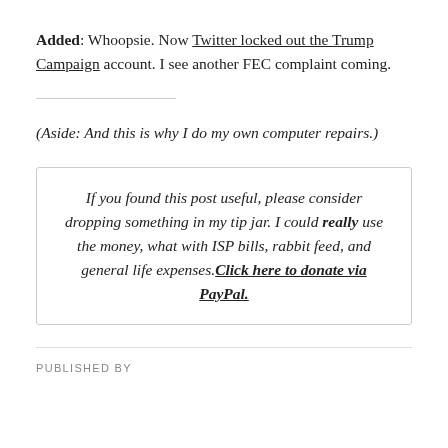Added: Whoopsie. Now Twitter locked out the Trump Campaign account. I see another FEC complaint coming.
(Aside: And this is why I do my own computer repairs.)
If you found this post useful, please consider dropping something in my tip jar. I could really use the money, what with ISP bills, rabbit feed, and general life expenses. Click here to donate via PayPal.
PUBLISHED BY